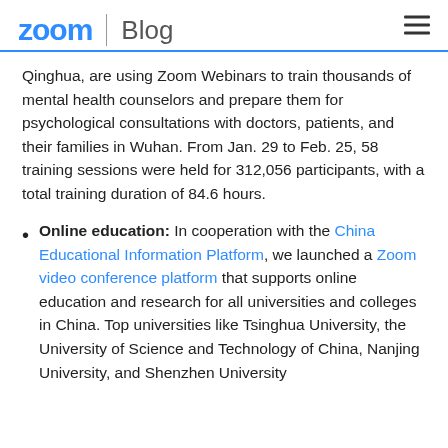zoom | Blog
Qinghua, are using Zoom Webinars to train thousands of mental health counselors and prepare them for psychological consultations with doctors, patients, and their families in Wuhan. From Jan. 29 to Feb. 25, 58 training sessions were held for 312,056 participants, with a total training duration of 84.6 hours.
Online education: In cooperation with the China Educational Information Platform, we launched a Zoom video conference platform that supports online education and research for all universities and colleges in China. Top universities like Tsinghua University, the University of Science and Technology of China, Nanjing University, and Shenzhen University